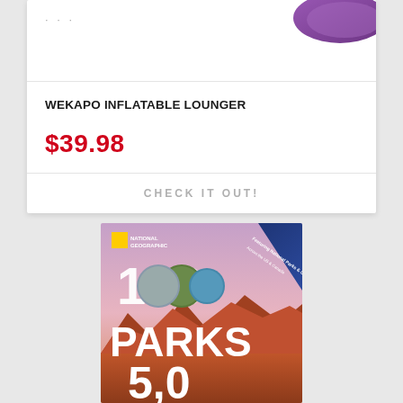[Figure (photo): Purple inflatable lounger product image, partially visible at top of card]
WEKAPO INFLATABLE LOUNGER
$39.98
CHECK IT OUT!
[Figure (photo): National Geographic 100 Parks book cover with landscape photography]